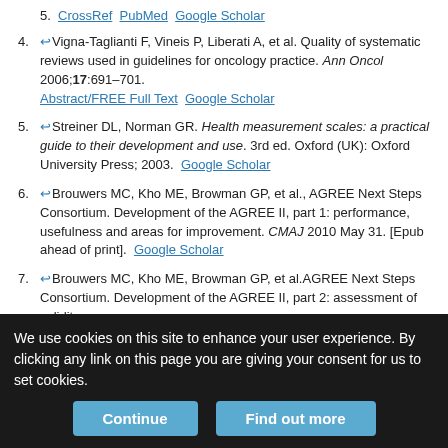5. [CrossRef] [PubMed] [Google Scholar]
4. Vigna-Taglianti F, Vineis P, Liberati A, et al. Quality of systematic reviews used in guidelines for oncology practice. Ann Oncol 2006;17:691–701. [Abstract/FREE Full Text] [Google Scholar]
5. Streiner DL, Norman GR. Health measurement scales: a practical guide to their development and use. 3rd ed. Oxford (UK): Oxford University Press; 2003. [Google Scholar]
6. Brouwers MC, Kho ME, Browman GP, et al., AGREE Next Steps Consortium. Development of the AGREE II, part 1: performance, usefulness and areas for improvement. CMAJ 2010 May 31. [Epub ahead of print]. [Google Scholar]
7. Brouwers MC, Kho ME, Browman GP, et al.AGREE Next Steps Consortium. Development of the AGREE II, part 2: assessment of validity
We use cookies on this site to enhance your user experience. By clicking any link on this page you are giving your consent for us to set cookies.